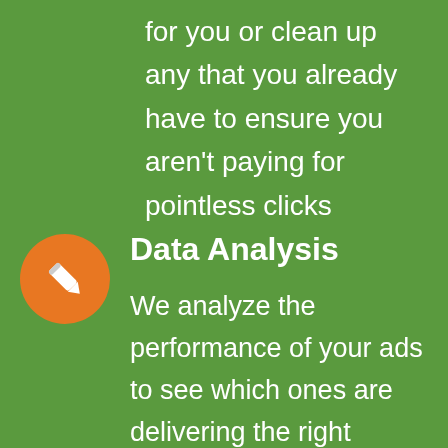for you or clean up any that you already have to ensure you aren't paying for pointless clicks
Data Analysis
We analyze the performance of your ads to see which ones are delivering the right visitors to your website